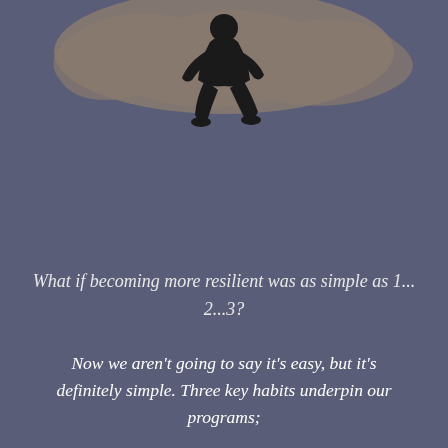[Figure (illustration): Illustration of a person silhouette (black figure) seated or crouching at the top of the page against a muted brown/grey background shape, set on a dark blue-grey background.]
What if becoming more resilient was as simple as 1... 2...3?
Now we aren't going to say it's easy, but it's definitely simple. Three key habits underpin our programs;